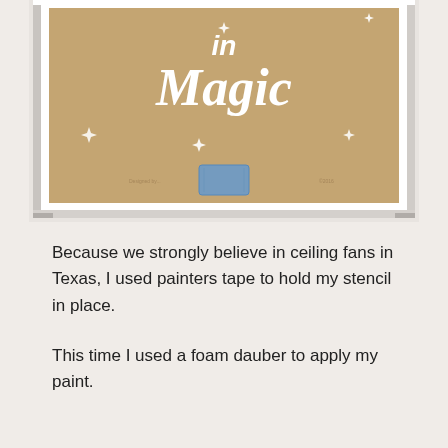[Figure (photo): A white shadow box frame containing a kraft paper stencil art piece reading 'in Magic' with decorative sparkle/star motifs. A small piece of blue painter's tape is visible at the bottom center of the kraft paper, holding the stencil in place inside the frame.]
Because we strongly believe in ceiling fans in Texas, I used painters tape to hold my stencil in place.
This time I used a foam dauber to apply my paint.